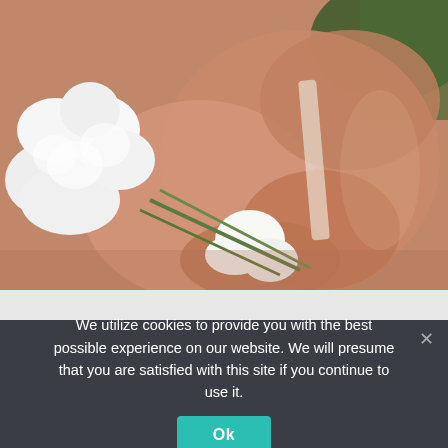[Figure (photo): Close-up photo of a person's hand holding white flowers (sweet peas or similar), with skin and green foliage visible in a soft blurred background.]
We utilize cookies to provide you with the best possible experience on our website. We will presume that you are satisfied with this site if you continue to use it.